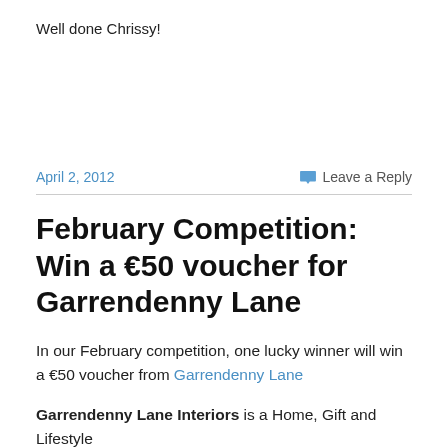Well done Chrissy!
April 2, 2012
Leave a Reply
February Competition: Win a €50 voucher for Garrendenny Lane
In our February competition, one lucky winner will win a €50 voucher from Garrendenny Lane
Garrendenny Lane Interiors is a Home, Gift and Lifestyle